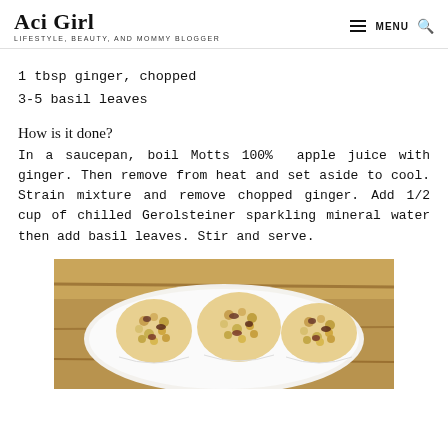Aci Girl | LIFESTYLE, BEAUTY, AND MOMMY BLOGGER
1 tbsp ginger, chopped
3-5 basil leaves
How is it done?
In a saucepan, boil Motts 100%  apple juice with ginger. Then remove from heat and set aside to cool. Strain mixture and remove chopped ginger. Add 1/2 cup of chilled Gerolsteiner sparkling mineral water then add basil leaves. Stir and serve.
[Figure (photo): Photo of popcorn balls or rice crispy treats with nuts and dried fruit on a white plate on a wooden surface]